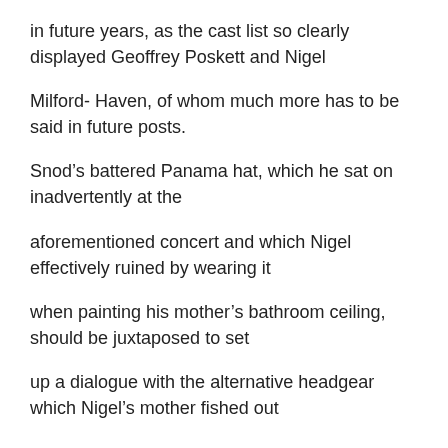in future years, as the cast list so clearly displayed Geoffrey Poskett and Nigel
Milford- Haven, of whom much more has to be said in future posts.
Snod’s battered Panama hat, which he sat on inadvertently at the
aforementioned concert and which Nigel effectively ruined by wearing it
when painting his mother’s bathroom ceiling, should be juxtaposed to set
up a dialogue with the alternative headgear which Nigel’s mother fished out